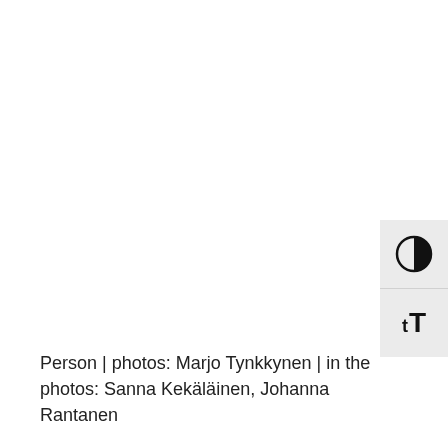[Figure (screenshot): UI accessibility panel with contrast toggle button (half-circle icon) and text size toggle button (tT icon), positioned on the right side of the page]
Person | photos: Marjo Tynkkynen | in the photos: Sanna Kekäläinen, Johanna Rantanen